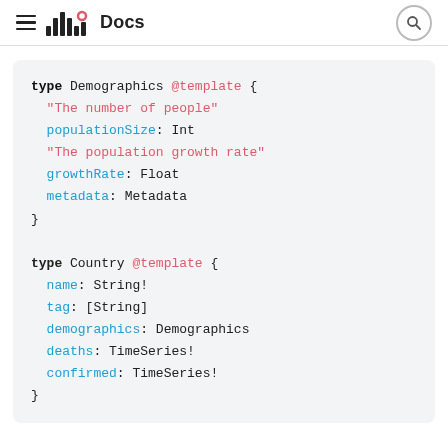≡ [logo] Docs [search]
type Demographics @template {
  "The number of people"
  populationSize: Int
  "The population growth rate"
  growthRate: Float
  metadata: Metadata
}

type Country @template {
  name: String!
  tag: [String]
  demographics: Demographics
  deaths: TimeSeries!
  confirmed: TimeSeries!
}